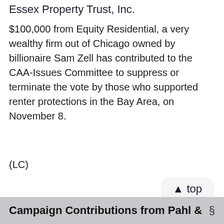Essex Property Trust, Inc.
$100,000 from Equity Residential, a very wealthy firm out of Chicago owned by billionaire Sam Zell has contributed to the CAA-Issues Committee to suppress or terminate the vote by those who supported renter protections in the Bay Area, on November 8.
(LC)
>>>>>>>
Campaign Contributions from Pahl & §